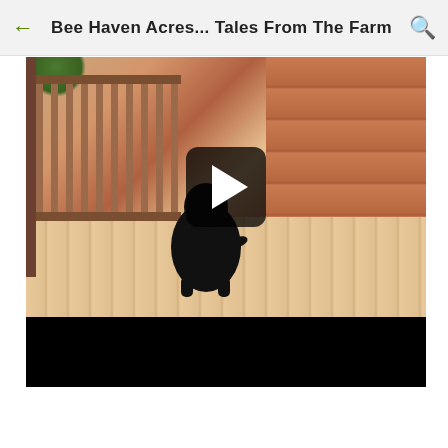Bee Haven Acres... Tales From The Farm
[Figure (screenshot): A video player showing a black dog running on a wooden deck beside a log cabin railing, with a play button overlay in the center and a black video controls bar at the bottom.]